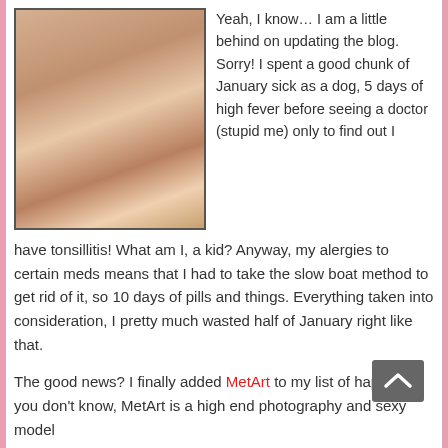[Figure (photo): Photograph of a blonde woman with her back to the camera, posed against a rocky surface.]
Yeah, I know… I am a little behind on updating the blog. Sorry! I spent a good chunk of January sick as a dog, 5 days of high fever before seeing a doctor (stupid me) only to find out I have tonsillitis! What am I, a kid? Anyway, my alergies to certain meds means that I had to take the slow boat method to get rid of it, so 10 days of pills and things. Everything taken into consideration, I pretty much wasted half of January right like that.
The good news? I finally added MetArt to my list of happy s… you don't know, MetArt is a high end photography and sexy model